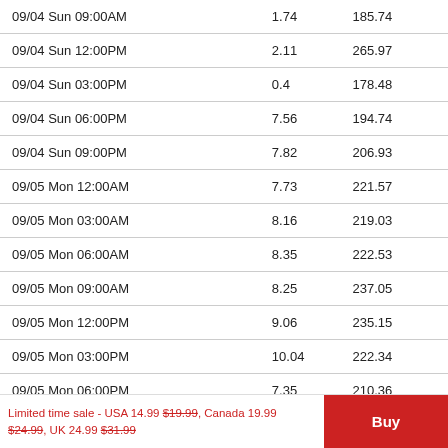| Date/Time | Col2 | Col3 |
| --- | --- | --- |
| 09/04 Sun 09:00AM | 1.74 | 185.74 |
| 09/04 Sun 12:00PM | 2.11 | 265.97 |
| 09/04 Sun 03:00PM | 0.4 | 178.48 |
| 09/04 Sun 06:00PM | 7.56 | 194.74 |
| 09/04 Sun 09:00PM | 7.82 | 206.93 |
| 09/05 Mon 12:00AM | 7.73 | 221.57 |
| 09/05 Mon 03:00AM | 8.16 | 219.03 |
| 09/05 Mon 06:00AM | 8.35 | 222.53 |
| 09/05 Mon 09:00AM | 8.25 | 237.05 |
| 09/05 Mon 12:00PM | 9.06 | 235.15 |
| 09/05 Mon 03:00PM | 10.04 | 222.34 |
| 09/05 Mon 06:00PM | 7.35 | 210.36 |
| 09/05 Mon 09:00PM | 6.15 | 217.28 |
Limited time sale - USA 14.99 $19.99, Canada 19.99 $24.99, UK 24.99 $31.99